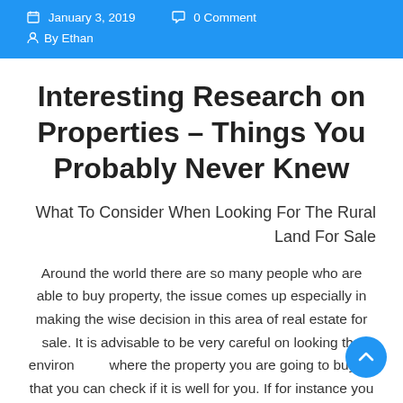January 3, 2019   0 Comment   By Ethan
Interesting Research on Properties – Things You Probably Never Knew
What To Consider When Looking For The Rural Land For Sale
Around the world there are so many people who are able to buy property, the issue comes up especially in making the wise decision in this area of real estate for sale. It is advisable to be very careful on looking the environment where the property you are going to buy so that you can check if it is well for you. If for instance you want a place